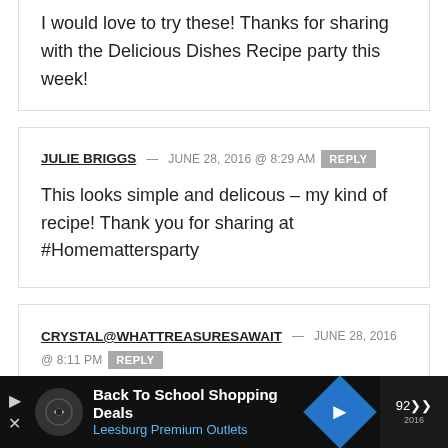I would love to try these! Thanks for sharing with the Delicious Dishes Recipe party this week!
JULIE BRIGGS — JUNE 28, 2016 @ 8:29 AM REPLY
This looks simple and delicous – my kind of recipe! Thank you for sharing at #Homemattersparty
CRYSTAL@WHATTREASURESAWAIT — JUNE 28, 2016 @ 8:11 PM REPLY
I love coconut! Pinning this! Thanks for sharing at
[Figure (infographic): Advertisement banner for Back To School Shopping Deals at Leesburg Premium Outlets with logo icons on dark background]